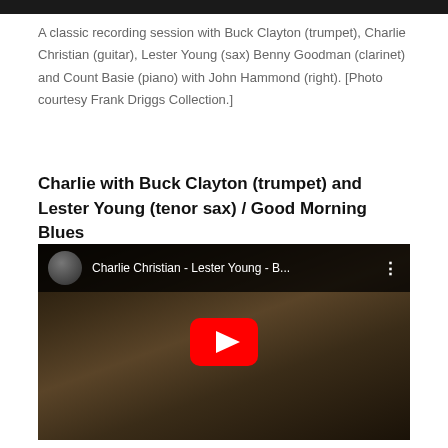[Figure (photo): Top portion of a black and white group photo, partially cropped]
A classic recording session with Buck Clayton (trumpet), Charlie Christian (guitar), Lester Young (sax) Benny Goodman (clarinet) and Count Basie (piano) with John Hammond (right). [Photo courtesy Frank Driggs Collection.]
Charlie with Buck Clayton (trumpet) and Lester Young (tenor sax) / Good Morning Blues
[Figure (screenshot): YouTube video thumbnail for 'Charlie Christian - Lester Young - B...' showing a musician holding a guitar with a red YouTube play button overlay]